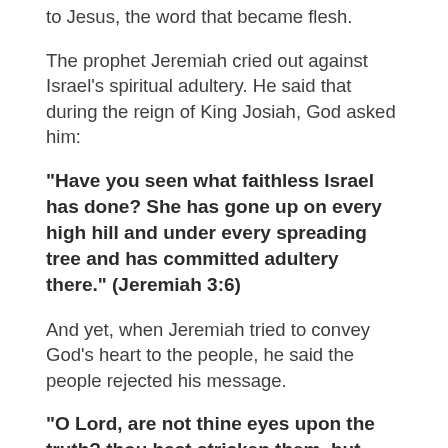to Jesus, the word that became flesh.
The prophet Jeremiah cried out against Israel's spiritual adultery. He said that during the reign of King Josiah, God asked him:
“Have you seen what faithless Israel has done? She has gone up on every high hill and under every spreading tree and has committed adultery there.” (Jeremiah 3:6)
And yet, when Jeremiah tried to convey God’s heart to the people, he said the people rejected his message.
“O Lord, are not thine eyes upon the truth? thou hast stricken them, but they have not grieved; thou hast consumed them, but they have refused to receive correction: they have made